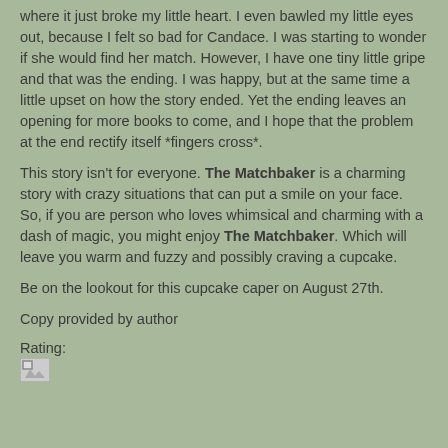where it just broke my little heart. I even bawled my little eyes out, because I felt so bad for Candace. I was starting to wonder if she would find her match. However, I have one tiny little gripe and that was the ending. I was happy, but at the same time a little upset on how the story ended. Yet the ending leaves an opening for more books to come, and I hope that the problem at the end rectify itself *fingers cross*.
This story isn't for everyone. The Matchbaker is a charming story with crazy situations that can put a smile on your face. So, if you are person who loves whimsical and charming with a dash of magic, you might enjoy The Matchbaker. Which will leave you warm and fuzzy and possibly craving a cupcake.
Be on the lookout for this cupcake caper on August 27th.
Copy provided by author
Rating:
[Figure (other): Broken image placeholder (rating image failed to load)]